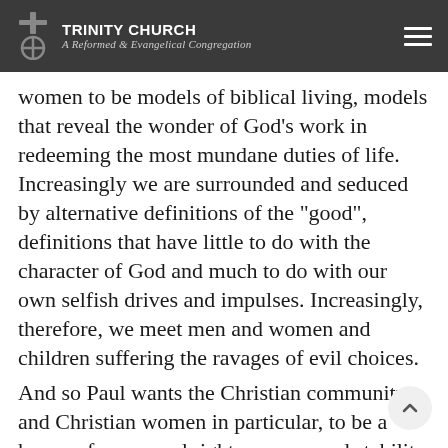TRINITY CHURCH A Reformed & Evangelical Congregation
women to be models of biblical living, models that reveal the wonder of God’s work in redeeming the most mundane duties of life. Increasingly we are surrounded and seduced by alternative definitions of the “good”, definitions that have little to do with the character of God and much to do with our own selfish drives and impulses. Increasingly, therefore, we meet men and women and children suffering the ravages of evil choices.
And so Paul wants the Christian community, and Christian women in particular, to be a haven of peace and righteousness and stability in the face of such suffering. Therefore, the challenge that Paul issues to us, issues to you, is this: are you so attached to what is good, so full of it and experienced in its application in daily life, that you are able to model it to others. You older women, in